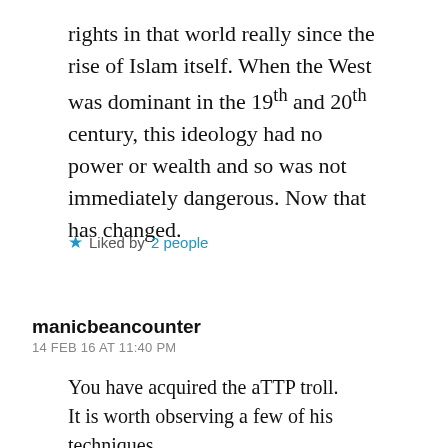rights in that world really since the rise of Islam itself. When the West was dominant in the 19th and 20th century, this ideology had no power or wealth and so was not immediately dangerous. Now that has changed.
★ Liked by 2 people
manicbeancounter
14 FEB 16 AT 11:40 PM
You have acquired the aTTP troll.
It is worth observing a few of his techniques.
– The throwback. Call him something and he